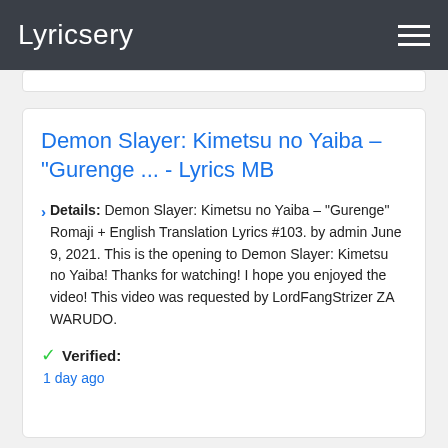Lyricsery
Demon Slayer: Kimetsu no Yaiba – "Gurenge ... - Lyrics MB
Details: Demon Slayer: Kimetsu no Yaiba – "Gurenge" Romaji + English Translation Lyrics #103. by admin June 9, 2021. This is the opening to Demon Slayer: Kimetsu no Yaiba! Thanks for watching! I hope you enjoyed the video! This video was requested by LordFangStrizer ZA WARUDO.
Verified: 1 day ago